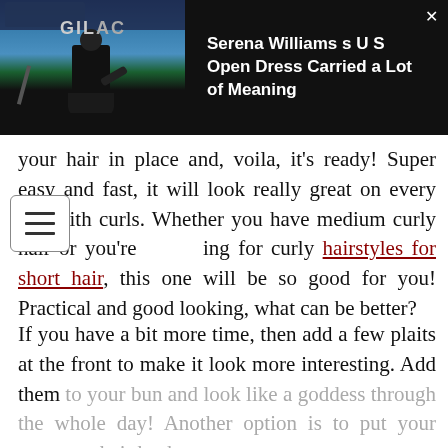[Figure (photo): Black banner with photo of Serena Williams at US Open tennis court on left side, and article title text on the right side with a close X button]
your hair in place and, voila, it's ready! Super easy and fast, it will look really great on every girl with curls. Whether you have medium curly hair or you're [look]ing for curly hairstyles for short hair, this one will be so good for you! Practical and good looking, what can be better?
If you have a bit more time, then add a few plaits at the front to make it look more interesting. Add them to your bun and look like a goddess through the whole day! Another option is to put your gorgeous hair back